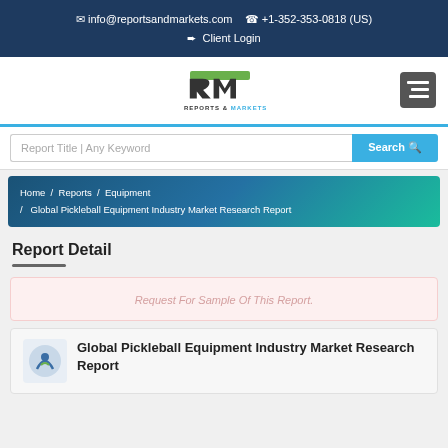✉ info@reportsandmarkets.com  ☎ +1-352-353-0818 (US)
➨ Client Login
[Figure (logo): Reports & Markets logo with RM monogram in dark grey and green]
Report Title | Any Keyword   Search
Home / Reports / Equipment / Global Pickleball Equipment Industry Market Research Report
Report Detail
Request For Sample Of This Report.
Global Pickleball Equipment Industry Market Research Report